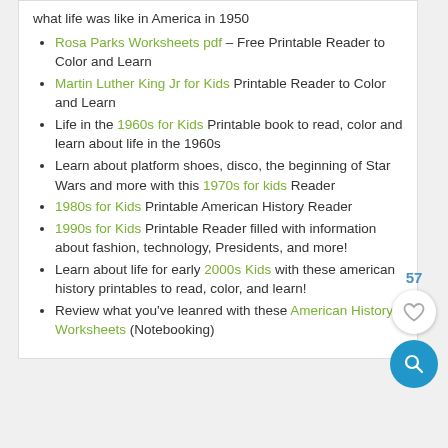what life was like in America in 1950
Rosa Parks Worksheets pdf – Free Printable Reader to Color and Learn
Martin Luther King Jr for Kids Printable Reader to Color and Learn
Life in the 1960s for Kids Printable book to read, color and learn about life in the 1960s
Learn about platform shoes, disco, the beginning of Star Wars and more with this 1970s for kids Reader
1980s for Kids Printable American History Reader
1990s for Kids Printable Reader filled with information about fashion, technology, Presidents, and more!
Learn about life for early 2000s Kids with these american history printables to read, color, and learn!
Review what you've leanred with these American History Worksheets (Notebooking)